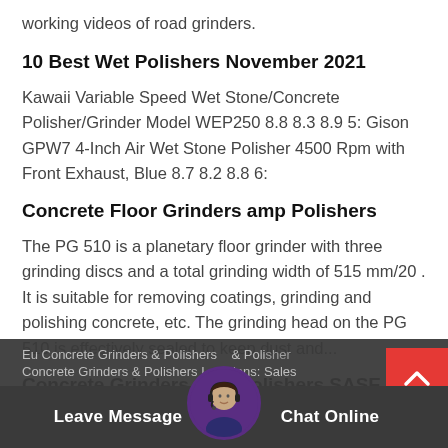working videos of road grinders.
10 Best Wet Polishers November 2021
Kawaii Variable Speed Wet Stone/Concrete Polisher/Grinder Model WEP250 8.8 8.3 8.9 5: Gison GPW7 4-Inch Air Wet Stone Polisher 4500 Rpm with Front Exhaust, Blue 8.7 8.2 8.8 6:
Concrete Floor Grinders amp Polishers
The PG 510 is a planetary floor grinder with three grinding discs and a total grinding width of 515 mm/20 . It is suitable for removing coatings, grinding and polishing concrete, etc. The grinding head on the PG 510 is effectively sealed to keep dust and...
Concrete Grinders amp Polishers SASE Concrete Grinders
Eu Concrete Grinders & Polishers Concrete Grinders & Polishers Locations: Sales
[Figure (other): Back to top arrow button (red background with white upward chevron)]
[Figure (other): Chat support avatar with customer service agent photo]
Leave Message   Chat Online